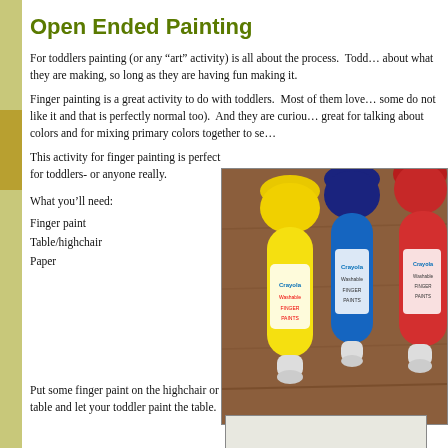Open Ended Painting
For toddlers painting (or any “art” activity) is all about the process.  Toddlers don’t care about what they are making, so long as they are having fun making it.
Finger painting is a great activity to do with toddlers.  Most of them love it (though some do not like it and that is perfectly normal too).  And they are curious… it is great for talking about colors and for mixing primary colors together to se…
This activity for finger painting is perfect for toddlers- or anyone really.
What you’ll need:
Finger paint
Table/highchair
Paper
[Figure (photo): Three Crayola finger paint bottles (yellow, blue, red) standing upside down on a wooden table surface]
Put some finger paint on the highchair or table and let your toddler paint the table.
[Figure (photo): Partial view of another photo at the bottom of the page]